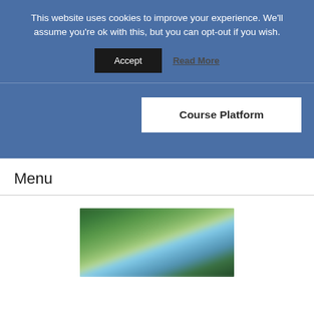This website uses cookies to improve your experience. We'll assume you're ok with this, but you can opt-out if you wish.
Accept
Read More
Course Platform
Menu
[Figure (photo): A blurred outdoor nature photo showing green trees and blue sky, partially visible at the bottom of the page]